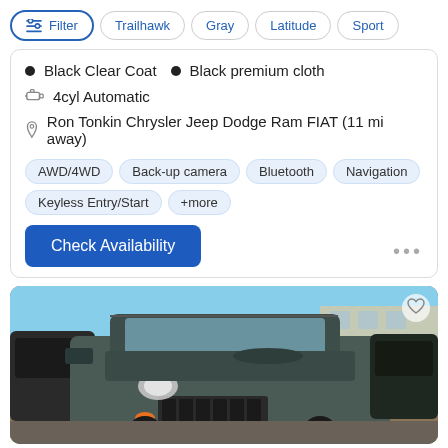Filter  Trailhawk  Gray  Latitude  Sport
Black Clear Coat  •  Black premium cloth
4cyl Automatic
Ron Tonkin Chrysler Jeep Dodge Ram FIAT (11 mi away)
AWD/4WD  Back-up camera  Bluetooth  Navigation  Keyless Entry/Start  +more
Check Availability
[Figure (photo): Front view of a gray Jeep Renegade in a dealer lot, with another dark SUV visible on the left and a building in the background.]